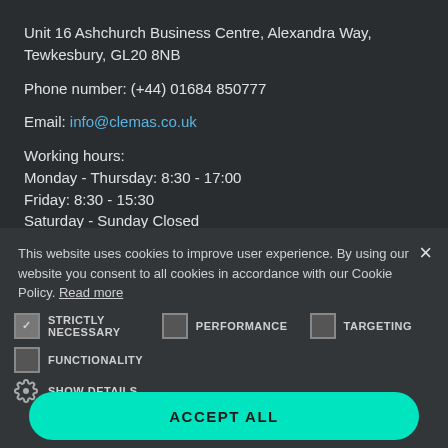Unit 16 Ashchurch Business Centre, Alexandra Way, Tewkesbury, GL20 8NB
Phone number: (+44) 01684 850777
Email: info@clemas.co.uk
Working hours:
Monday - Thursday: 8:30 - 17:00
Friday: 8:30 - 15:30
Saturday - Sunday Closed
This website uses cookies to improve user experience. By using our website you consent to all cookies in accordance with our Cookie Policy. Read more
STRICTLY NECESSARY  PERFORMANCE  TARGETING  FUNCTIONALITY  SHOW DETAILS  ACCEPT ALL